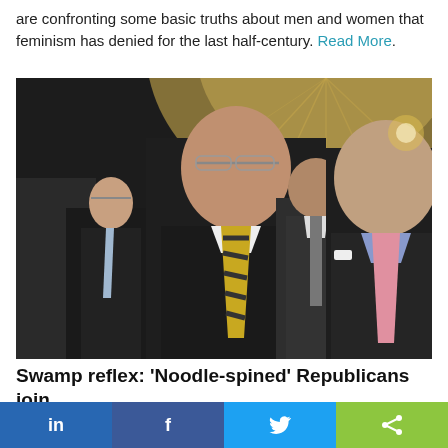are confronting some basic truths about men and women that feminism has denied for the last half-century. Read More.
[Figure (photo): Group of Republican politicians in formal attire standing together, including a prominent figure in center wearing a striped tie and glasses]
Swamp reflex: 'Noodle-spined' Republicans join
in  f  [twitter]  [share]